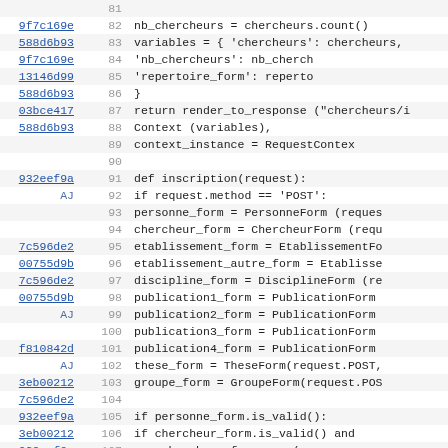[Figure (screenshot): Source code diff view showing Python code lines 81-112 with commit hashes, line numbers, and code content. The code defines functions including inscription(request) with form handling logic.]